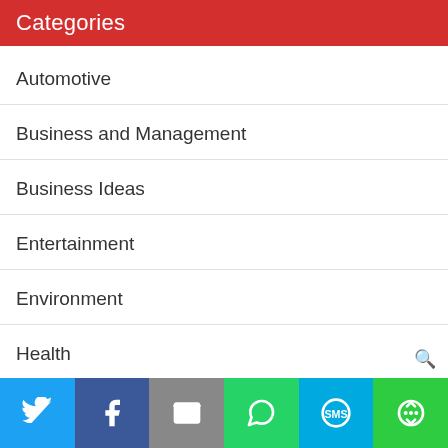Categories
Automotive
Business and Management
Business Ideas
Entertainment
Environment
Health